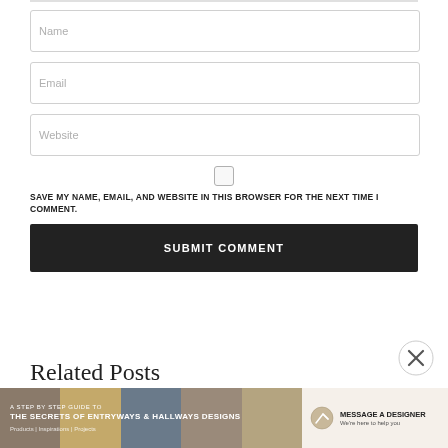[Figure (screenshot): Form input field with placeholder text 'Name']
[Figure (screenshot): Form input field with placeholder text 'Email']
[Figure (screenshot): Form input field with placeholder text 'Website']
SAVE MY NAME, EMAIL, AND WEBSITE IN THIS BROWSER FOR THE NEXT TIME I COMMENT.
SUBMIT COMMENT
Related Posts
[Figure (infographic): Bottom advertisement banner: 'A STEP BY STEP GUIDE TO THE SECRETS OF ENTRYWAYS & HALLWAYS DESIGNS' with 'MESSAGE A DESIGNER' call to action]